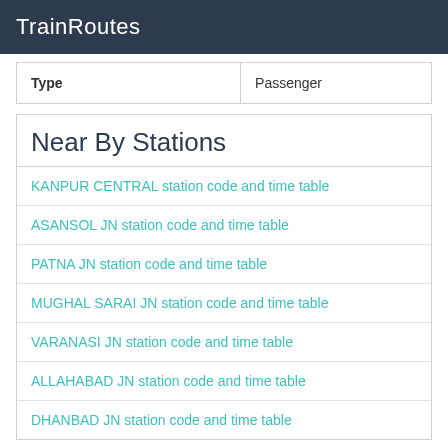TrainRoutes
| Type | Passenger |
| --- | --- |
Near By Stations
KANPUR CENTRAL station code and time table
ASANSOL JN station code and time table
PATNA JN station code and time table
MUGHAL SARAI JN station code and time table
VARANASI JN station code and time table
ALLAHABAD JN station code and time table
DHANBAD JN station code and time table